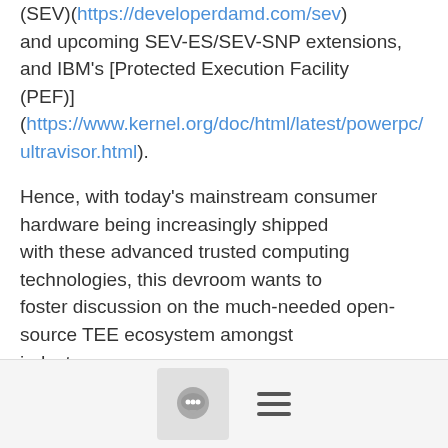(SEV)[(https://developerdamd.com/sev) and upcoming SEV-ES/SEV-SNP extensions, and IBM's [Protected Execution Facility (PEF)] (https://www.kernel.org/doc/html/latest/powerpc/ultravisor.html).
Hence, with today's mainstream consumer hardware being increasingly shipped with these advanced trusted computing technologies, this devroom wants to foster discussion on the much-needed open-source TEE ecosystem amongst industry players, academics, enthusiasts, hobbyists, and project maintainers.
## Desirable topics
The devroom's topics of interest include, but are not limited to:
[Figure (other): Footer bar with chat bubble icon button and hamburger menu icon]